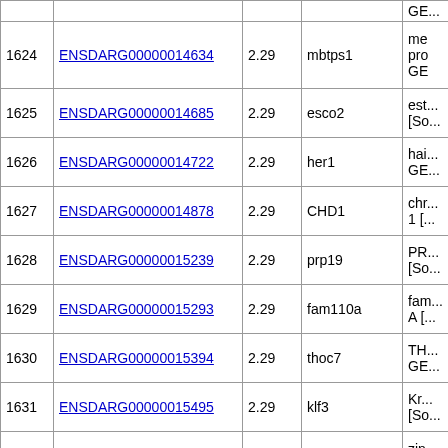| # | Gene ID | Value | Symbol | Description |
| --- | --- | --- | --- | --- |
| 1624 | ENSDARG00000014634 | 2.29 | mbtps1 | me... pro... GE... |
| 1625 | ENSDARG00000014685 | 2.29 | esco2 | est... [So... |
| 1626 | ENSDARG00000014722 | 2.29 | her1 | hai... GE... |
| 1627 | ENSDARG00000014878 | 2.29 | CHD1 | chr... 1 [... |
| 1628 | ENSDARG00000015239 | 2.29 | prp19 | PR... [So... |
| 1629 | ENSDARG00000015293 | 2.29 | fam110a | fam... A [... |
| 1630 | ENSDARG00000015394 | 2.29 | thoc7 | TH... GE... |
| 1631 | ENSDARG00000015495 | 2.29 | klf3 | Kr... [So... |
| 1632 | ENSDARG00000015538 | 2.29 | znf207a | zin... [So... 227... |
| 1633 | ENSDARG00000015610 | 2.29 | tubg1 | tub... |